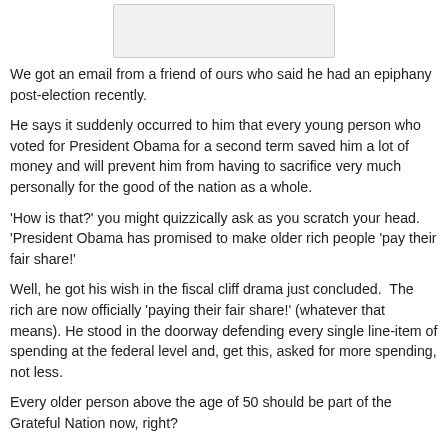[Figure (other): A rectangular placeholder image at the top of the page]
We got an email from a friend of ours who said he had an epiphany post-election recently.
He says it suddenly occurred to him that every young person who voted for President Obama for a second term saved him a lot of money and will prevent him from having to sacrifice very much personally for the good of the nation as a whole.
'How is that?' you might quizzically ask as you scratch your head. 'President Obama has promised to make older rich people 'pay their fair share!'
Well, he got his wish in the fiscal cliff drama just concluded. The rich are now officially 'paying their fair share!' (whatever that means). He stood in the doorway defending every single line-item of spending at the federal level and, get this, asked for more spending, not less.
Every older person above the age of 50 should be part of the Grateful Nation now, right?